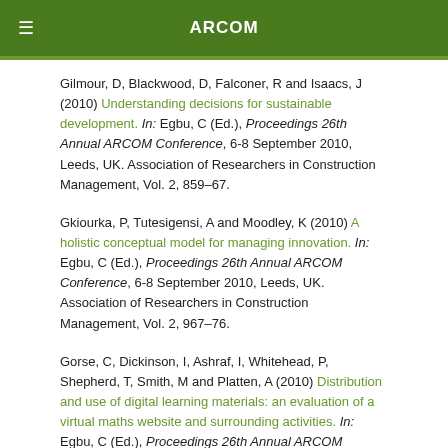ARCOM
Gilmour, D, Blackwood, D, Falconer, R and Isaacs, J (2010) Understanding decisions for sustainable development. In: Egbu, C (Ed.), Proceedings 26th Annual ARCOM Conference, 6-8 September 2010, Leeds, UK. Association of Researchers in Construction Management, Vol. 2, 859–67.
Gkiourka, P, Tutesigensi, A and Moodley, K (2010) A holistic conceptual model for managing innovation. In: Egbu, C (Ed.), Proceedings 26th Annual ARCOM Conference, 6-8 September 2010, Leeds, UK. Association of Researchers in Construction Management, Vol. 2, 967–76.
Gorse, C, Dickinson, I, Ashraf, I, Whitehead, P, Shepherd, T, Smith, M and Platten, A (2010) Distribution and use of digital learning materials: an evaluation of a virtual maths website and surrounding activities. In: Egbu, C (Ed.), Proceedings 26th Annual ARCOM Conference, 6-8 September 2010, Leeds, UK. Association of Researchers in Construction Management, Vol. 1, 133–42.